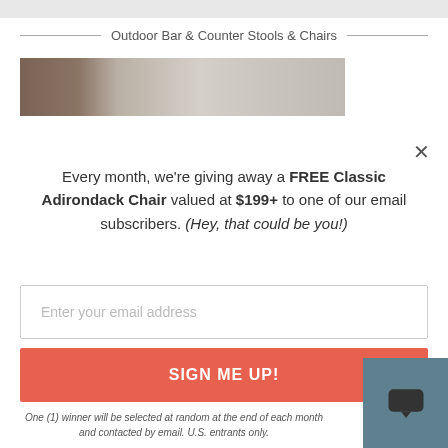Outdoor Bar & Counter Stools & Chairs
[Figure (photo): Partial product photo showing outdoor furniture/deck area with wooden surfaces]
Every month, we're giving away a FREE Classic Adirondack Chair valued at $199+ to one of our email subscribers. (Hey, that could be you!)
Enter your email address
SIGN ME UP!
One (1) winner will be selected at random at the end of each month and contacted by email. U.S. entrants only.